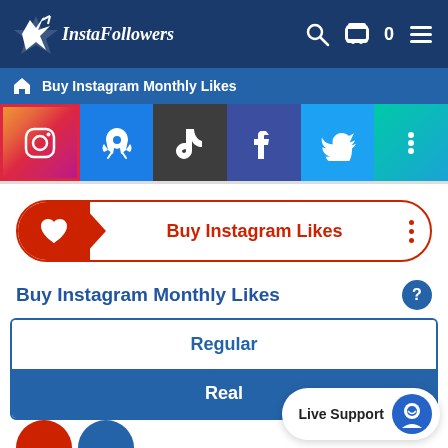[Figure (logo): InstaFollowers logo with star icon and italic script text, white on dark blue header background, with search, cart (0), and menu icons on the right]
Buy Instagram Monthly Likes
[Figure (infographic): Row of 6 social media/service buttons: Instagram (gradient red/purple), Rocket (blue), TikTok (dark gray), Facebook (dark blue/purple), Twitter (light blue), More (teal/cyan)]
[Figure (infographic): Buy Instagram Likes button with red heart icon, arrow, bold red text, and three vertical dots]
Buy Instagram Monthly Likes
| Regular |
| Real |
Live Support